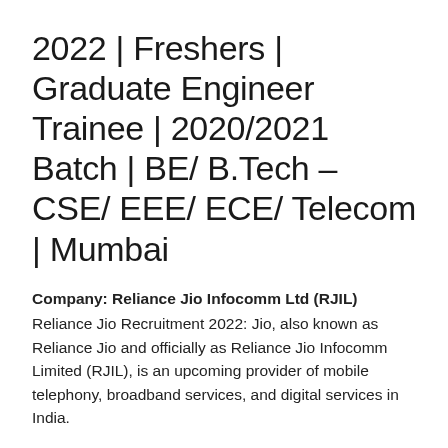2022 | Freshers | Graduate Engineer Trainee | 2020/2021 Batch | BE/ B.Tech – CSE/ EEE/ ECE/ Telecom | Mumbai
Company: Reliance Jio Infocomm Ltd (RJIL) Reliance Jio Recruitment 2022: Jio, also known as Reliance Jio and officially as Reliance Jio Infocomm Limited (RJIL), is an upcoming provider of mobile telephony, broadband services, and digital services in India.